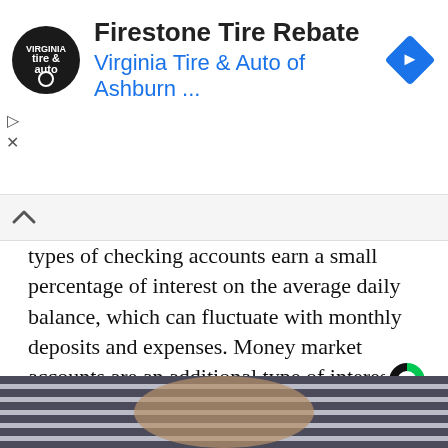[Figure (screenshot): Advertisement banner for Firestone Tire Rebate from Virginia Tire & Auto of Ashburn with logo and blue navigation arrow icon]
types of checking accounts earn a small percentage of interest on the average daily balance, which can fluctuate with monthly deposits and expenses. Money market accounts are an additional type of interest-bearing bank account that some consumers use for both checking and savings purposes.
[Figure (logo): Coinbase logo (C with green segment)]
[Figure (photo): Partial photo of a person wearing a striped shirt, visible from chest area]